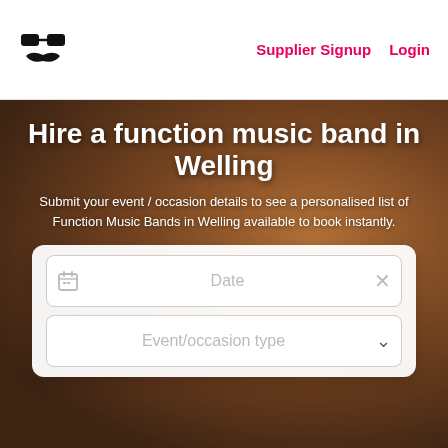Supplier Signup  Login
Hire a function music band in Welling
Submit your event / occasion details to see a personalised list of Function Music Bands in Welling available to book instantly.
Date
Event/occasion type